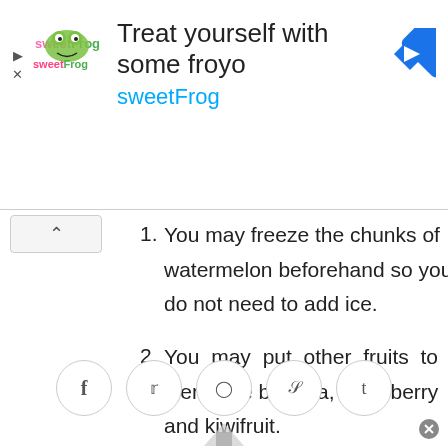[Figure (screenshot): sweetFrog advertisement banner with logo, title 'Treat yourself with some froyo', brand name 'sweetFrog', and a blue navigation arrow icon]
1. You may freeze the chunks of watermelon beforehand so you do not need to add ice.
2. You may put other fruits to blend like banana, strawberry and kiwifruit.
[Figure (screenshot): Social sharing buttons row: Facebook, Twitter, Pinterest, StumbleUpon, Tumblr icons in circular buttons]